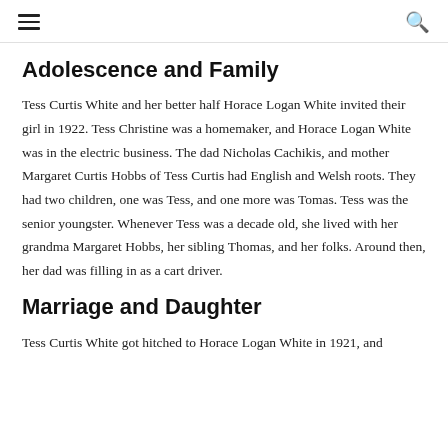≡    🔍
Adolescence and Family
Tess Curtis White and her better half Horace Logan White invited their girl in 1922. Tess Christine was a homemaker, and Horace Logan White was in the electric business. The dad Nicholas Cachikis, and mother Margaret Curtis Hobbs of Tess Curtis had English and Welsh roots. They had two children, one was Tess, and one more was Tomas. Tess was the senior youngster. Whenever Tess was a decade old, she lived with her grandma Margaret Hobbs, her sibling Thomas, and her folks. Around then, her dad was filling in as a cart driver.
Marriage and Daughter
Tess Curtis White got hitched to Horace Logan White in 1921, and